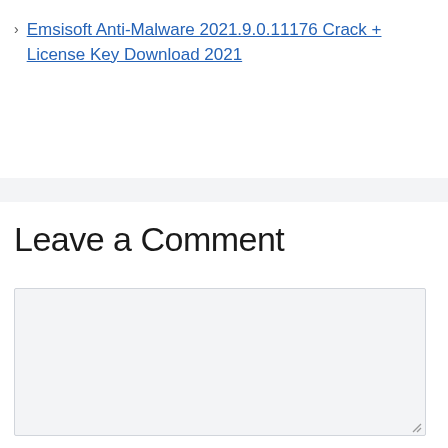› Emsisoft Anti-Malware 2021.9.0.11176 Crack + License Key Download 2021
Leave a Comment
[Figure (screenshot): A comment text area input field with light gray background and a resize handle at the bottom-right corner.]